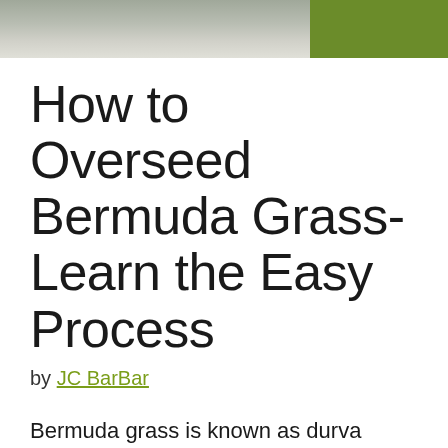[Figure (photo): Header image showing a road/pavement on the left side and green grass on the right side]
How to Overseed Bermuda Grass- Learn the Easy Process
by JC BarBar
Bermuda grass is known as durva grass, ethana grass, dog's tooth grass,